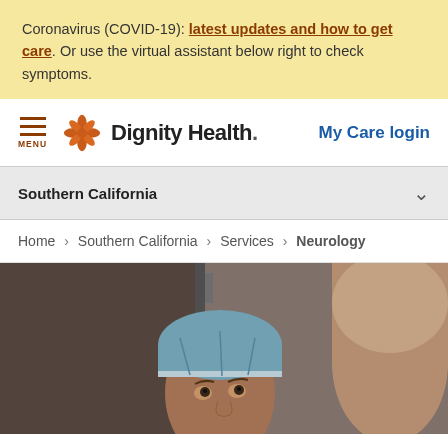Coronavirus (COVID-19): latest updates and how to get care. Or use the virtual assistant below right to check symptoms.
[Figure (logo): Dignity Health logo with orange flower icon and text 'Dignity Health.']
My Care login
Southern California
Home > Southern California > Services > Neurology
[Figure (photo): A surgeon or medical professional wearing a blue surgical cap looking upward, with another person partially visible in the background.]